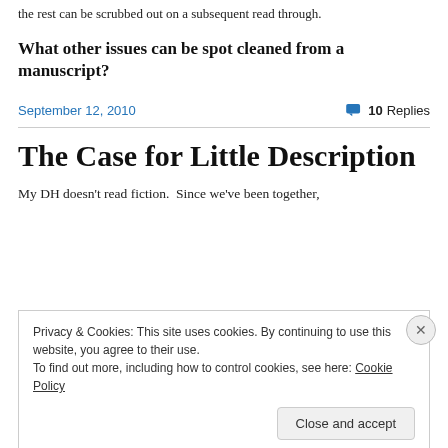the rest can be scrubbed out on a subsequent read through.
What other issues can be spot cleaned from a manuscript?
September 12, 2010   💬 10 Replies
The Case for Little Description
My DH doesn't read fiction.  Since we've been together,
Privacy & Cookies: This site uses cookies. By continuing to use this website, you agree to their use.
To find out more, including how to control cookies, see here: Cookie Policy
Close and accept